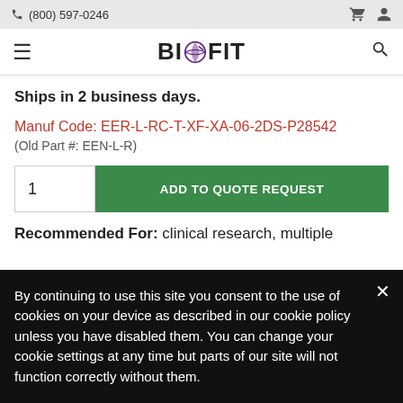(800) 597-0246
[Figure (logo): BioFit logo with globe icon]
Ships in 2 business days.
Manuf Code: EER-L-RC-T-XF-XA-06-2DS-P28542
(Old Part #: EEN-L-R)
1  ADD TO QUOTE REQUEST
Recommended For: clinical research, multiple
By continuing to use this site you consent to the use of cookies on your device as described in our cookie policy unless you have disabled them. You can change your cookie settings at any time but parts of our site will not function correctly without them.